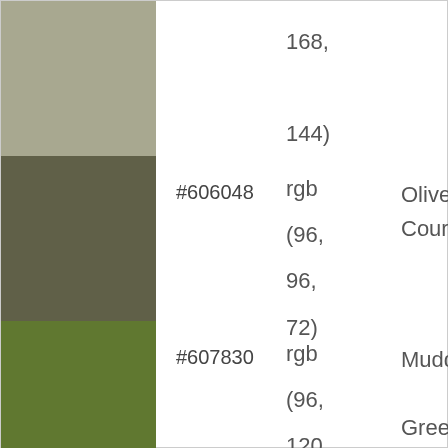| Swatch | Hex | RGB | Name |
| --- | --- | --- | --- |
| (color) |  | 168, 144) |  |
| (color) | #606048 | rgb (96, 96, 72) | Olive Court |
| (color) | #607830 | rgb (96, 120, 48) | Muddy Green |
| (color) | #9090c0 | rgb (144, | Purple Amethyst |